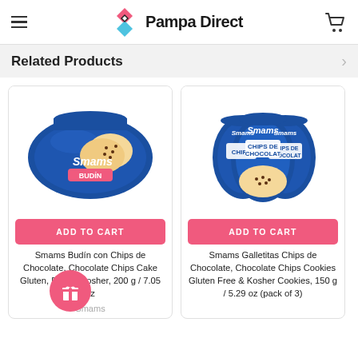Pampa Direct
Related Products
[Figure (photo): Smams Budin con Chips de Chocolate package — blue bag with chocolate chip pound cake on front]
ADD TO CART
Smams Budín con Chips de Chocolate, Chocolate Chips Cake Gluten, Free & Kosher, 200 g / 7.05 oz
Smams
[Figure (photo): Smams Galletitas Chips de Chocolate — three blue bags of chocolate chip cookies]
ADD TO CART
Smams Galletitas Chips de Chocolate, Chocolate Chips Cookies Gluten Free & Kosher Cookies, 150 g / 5.29 oz (pack of 3)